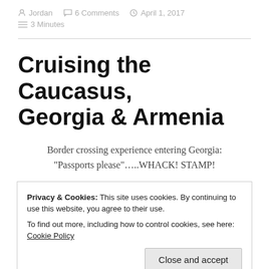Jordan   6 Comments   April 1, 2017   3 Minutes
Cruising the Caucasus, Georgia & Armenia
Border crossing experience entering Georgia:
"Passports please"…..WHACK! STAMP!
Privacy & Cookies: This site uses cookies. By continuing to use this website, you agree to their use.
To find out more, including how to control cookies, see here: Cookie Policy
Close and accept
The Stans who were coming from West to East had